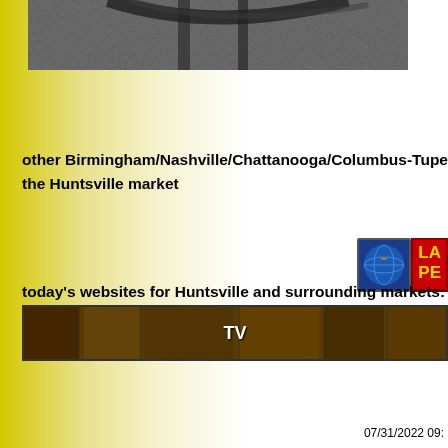[Figure (photo): Close-up photo of a dark metallic object (possibly a chair or sculptural form) on a gray surface, cropped at top of page]
other Birmingham/Nashville/Chattanooga/Columbus-Tupelo/Atlanta the Huntsville market
[Figure (logo): Logo with globe icon and red box with 'LA PE' text in yellow, partially cropped]
today's websites for Huntsville and surrounding markets:
[Figure (photo): Dark brown/tan map-textured banner with 'TV' text in white centered]
07/31/2022 09: